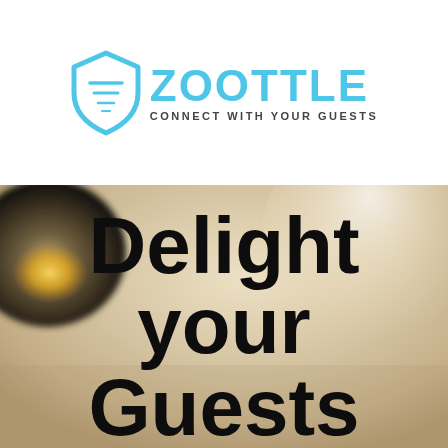[Figure (logo): Zoottle logo: light blue funnel/tornado shield icon next to the word ZOOTTLE in large light blue bold letters, with tagline CONNECT WITH YOUR GUESTS in dark gray small caps below]
[Figure (photo): Blurred interior room photo showing a pendant lamp with warm orange glow on the left, bright light area upper right, warm beige/cream tones throughout. Large bold black text overlaid reads 'Delight your Guests' (Guests partially cropped at bottom)]